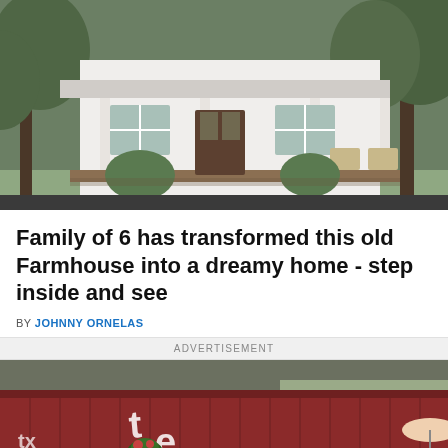[Figure (photo): Exterior of a white farmhouse with a front porch, rocking chairs, columns, and surrounding greenery and trees.]
Family of 6 has transformed this old Farmhouse into a dreamy home - step inside and see
BY JOHNNY ORNELAS
ADVERTISEMENT
[Figure (photo): A dark red shipping container converted into a home with a white door, hanging flower baskets, a planter box with flowers, and outdoor seating area with an umbrella.]